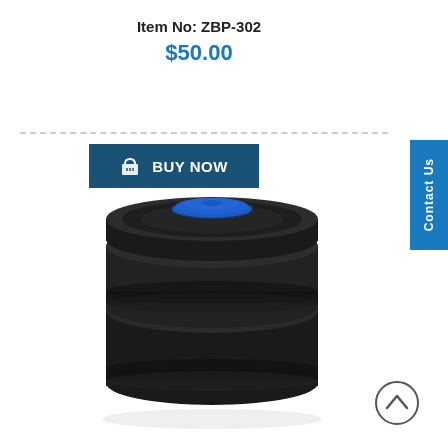Item No: ZBP-302
$50.00
BUY NOW
[Figure (photo): Black barrel-shaped container with blue ridged cap on top, viewed from slightly above. The container has two horizontal ridges around the middle.]
Contact Us